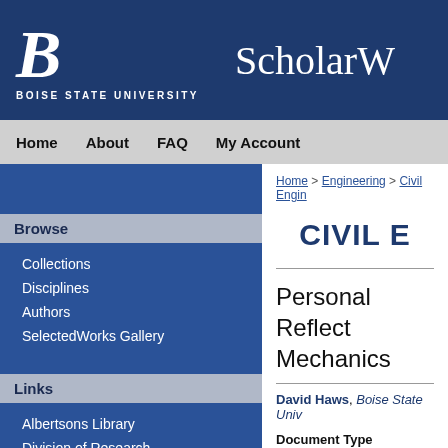[Figure (logo): Boise State University logo with stylized B and BOISE STATE UNIVERSITY text in white on dark blue background, alongside ScholarW... text]
Home   About   FAQ   My Account
Browse
Collections
Disciplines
Authors
SelectedWorks Gallery
Links
Albertsons Library
Division of Research
Graduate College
Search
Home > Engineering > Civil Engin...
CIVIL E...
Personal Reflect... Mechanics
David Haws, Boise State Univ...
Document Type
Conference Proceeding